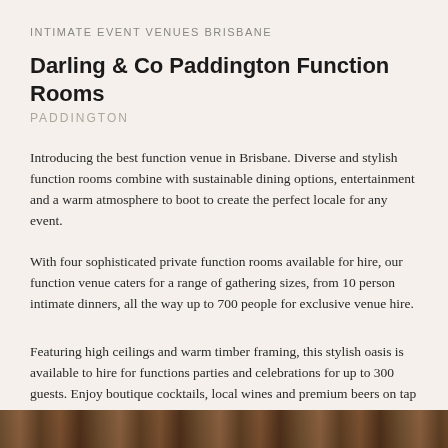INTIMATE EVENT VENUES BRISBANE
Darling & Co Paddington Function Rooms
PADDINGTON
Introducing the best function venue in Brisbane. Diverse and stylish function rooms combine with sustainable dining options, entertainment and a warm atmosphere to boot to create the perfect locale for any event.
With four sophisticated private function rooms available for hire, our function venue caters for a range of gathering sizes, from 10 person intimate dinners, all the way up to 700 people for exclusive venue hire.
Featuring high ceilings and warm timber framing, this stylish oasis is available to hire for functions parties and celebrations for up to 300 guests. Enjoy boutique cocktails, local wines and premium beers on tap alongside a selection of dishes from theour restaurant.
[Figure (photo): Bottom strip showing a warm-toned interior or food/venue photo, partially visible]